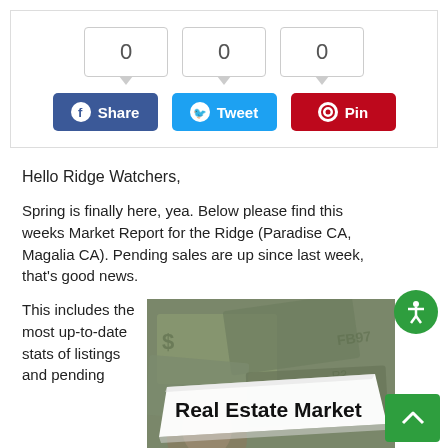[Figure (screenshot): Social share widget with three counter boxes showing 0, 0, 0 and three buttons: Facebook Share (blue), Twitter Tweet (light blue), Pinterest Pin (red)]
Hello Ridge Watchers,
Spring is finally here, yea.  Below please find this weeks Market Report for the Ridge (Paradise CA, Magalia CA). Pending sales are up since last week, that’s good news.
This includes the most up-to-date stats of listings and pending
[Figure (photo): Photo of US dollar bills with a torn paper strip reading 'Real Estate Market' in bold text over the money]